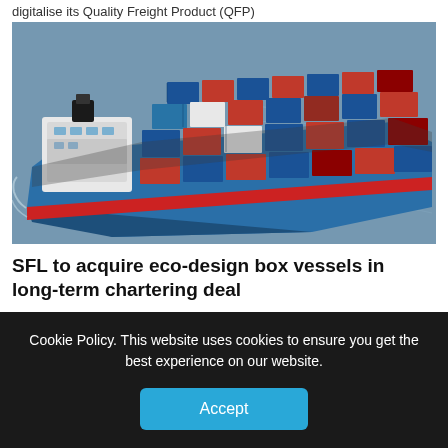digitalise its Quality Freight Product (QFP)
[Figure (photo): Aerial view of a large blue container ship loaded with colorful shipping containers (red, blue, white) sailing on open blue-grey sea water]
SFL to acquire eco-design box vessels in long-term chartering deal
SFL Corporation Ltd (SFL) has agreed to acquire two new eco-design feeder container vessels in
Cookie Policy. This website uses cookies to ensure you get the best experience on our website.